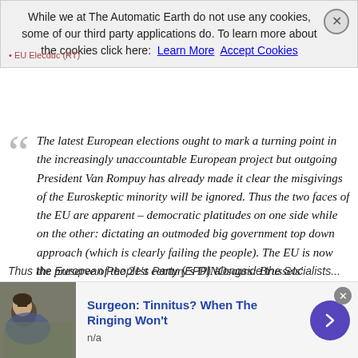While we at The Automatic Earth do not use any cookies, some of our third party applications do. To learn more about the cookies click here: Learn More | Accept Cookies
The latest European elections ought to mark a turning point in the increasingly unaccountable European project but outgoing President Van Rompuy has already made it clear the misgivings of the Euroskeptic minority will be ignored. Thus the two faces of the EU are apparent – democratic platitudes on one side while on the other: dictating an outmoded big government top down approach (which is clearly failing the people). The EU is now the preserve of the 21st century's DINOsaurs: Brussels' oligarchs who are 'Democrats in Name Only', with a distinctly archaic approach to growth, as demonstrated by their desire to expand the 'empire' east (into Ukraine and beyond), despite being unable to deliver coherent prosperity in their own back yard.
Thus the European People's Party (EPP) alongside the Socialists...
[Figure (photo): Advertisement banner showing a person resting with eyes closed, promoting a tinnitus article. Text reads: Surgeon: Tinnitus? When The Ringing Won't, n/a]